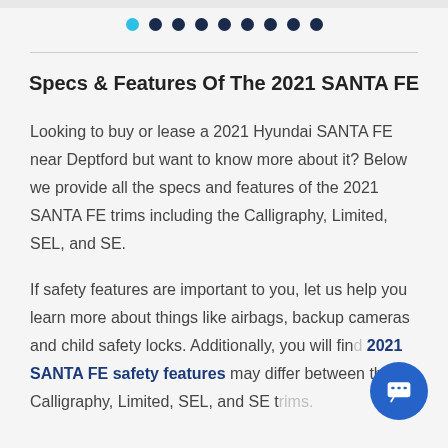[Figure (other): Carousel navigation dots: one cyan dot followed by eight dark navy dots]
Specs & Features Of The 2021 SANTA FE
Looking to buy or lease a 2021 Hyundai SANTA FE near Deptford but want to know more about it? Below we provide all the specs and features of the 2021 SANTA FE trims including the Calligraphy, Limited, SEL, and SE.
If safety features are important to you, let us help you learn more about things like airbags, backup cameras and child safety locks. Additionally, you will find 2021 SANTA FE safety features may differ between the Calligraphy, Limited, SEL, and SE trims.